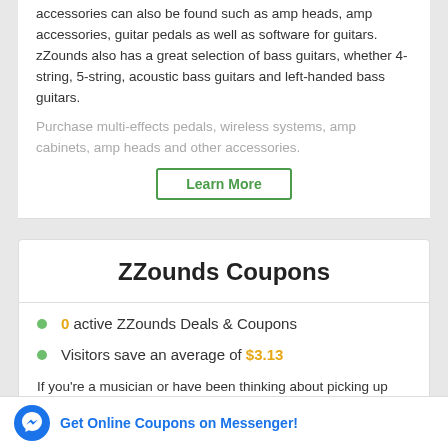accessories can also be found such as amp heads, amp accessories, guitar pedals as well as software for guitars. zZounds also has a great selection of bass guitars, whether 4-string, 5-string, acoustic bass guitars and left-handed bass guitars. Purchase multi-effects pedals, wireless systems, amp cabinets, amp heads and other accessories.
Learn More
ZZounds Coupons
0 active ZZounds Deals & Coupons
Visitors save an average of $3.13
If you're a musician or have been thinking about picking up music, then zZounds is a great shopping destination for you. Use a zZounds offer to save up to $650 on Blowouts products and free shipping is yours when you spend a minimum of $29. Keyboarders know that they can trust Roland and this, you'll be getting a 40% discount Roland's
Get Online Coupons on Messenger!